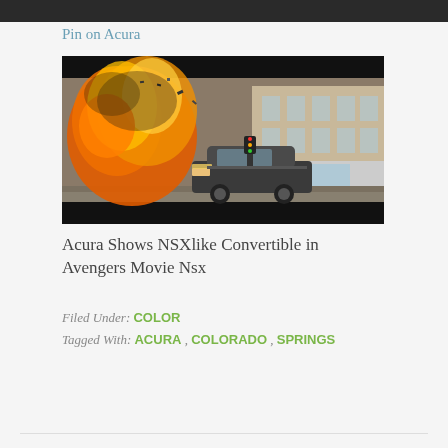[Figure (photo): Dark top strip (partial image crop of previous item)]
Pin on Acura
[Figure (photo): Movie still from Avengers showing a dark SUV (Acura) driving on a city street with a large explosion of fire and debris behind it, next to a brick building.]
Acura Shows NSXlike Convertible in Avengers Movie Nsx
Filed Under: COLOR
Tagged With: ACURA , COLORADO , SPRINGS